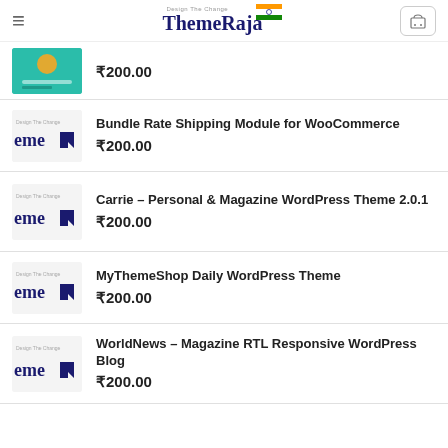ThemeRaja
₹200.00
Bundle Rate Shipping Module for WooCommerce ₹200.00
Carrie – Personal & Magazine WordPress Theme 2.0.1 ₹200.00
MyThemeShop Daily WordPress Theme ₹200.00
WorldNews – Magazine RTL Responsive WordPress Blog ₹200.00